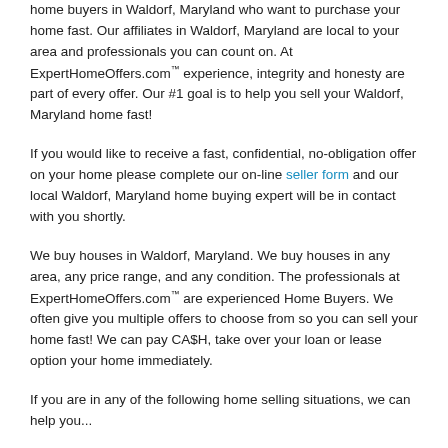home buyers in Waldorf, Maryland who want to purchase your home fast. Our affiliates in Waldorf, Maryland are local to your area and professionals you can count on. At ExpertHomeOffers.com™ experience, integrity and honesty are part of every offer. Our #1 goal is to help you sell your Waldorf, Maryland home fast!
If you would like to receive a fast, confidential, no-obligation offer on your home please complete our on-line seller form and our local Waldorf, Maryland home buying expert will be in contact with you shortly.
We buy houses in Waldorf, Maryland. We buy houses in any area, any price range, and any condition. The professionals at ExpertHomeOffers.com™ are experienced Home Buyers. We often give you multiple offers to choose from so you can sell your home fast! We can pay CA$H, take over your loan or lease option your home immediately.
If you are in any of the following home selling situations, we can help you...